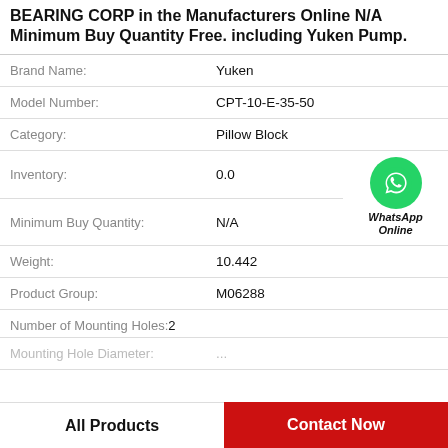BEARING CORP in the Manufacturers Online N/A Minimum Buy Quantity Free. including Yuken Pump.
| Attribute | Value |
| --- | --- |
| Brand Name: | Yuken |
| Model Number: | CPT-10-E-35-50 |
| Category: | Pillow Block |
| Inventory: | 0.0 |
| Minimum Buy Quantity: | N/A |
| Weight: | 10.442 |
| Product Group: | M06288 |
| Number of Mounting Holes: | 2 |
| Mounting Hole Diameter: | ... |
[Figure (logo): WhatsApp Online green circle badge with phone icon and text 'WhatsApp Online']
All Products
Contact Now